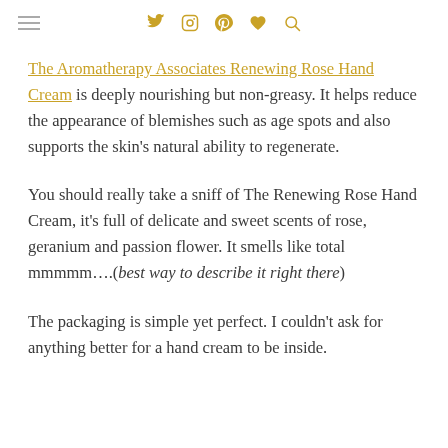[navigation icons: hamburger menu, Twitter, Instagram, Pinterest, Heart, Search]
The Aromatherapy Associates Renewing Rose Hand Cream is deeply nourishing but non-greasy. It helps reduce the appearance of blemishes such as age spots and also supports the skin's natural ability to regenerate.
You should really take a sniff of The Renewing Rose Hand Cream, it's full of delicate and sweet scents of rose, geranium and passion flower. It smells like total mmmmm….(best way to describe it right there)
The packaging is simple yet perfect. I couldn't ask for anything better for a hand cream to be inside.